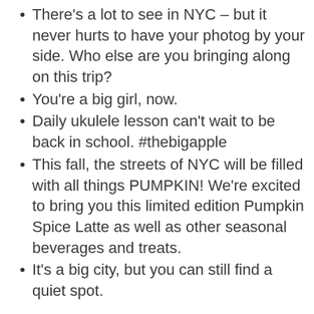There's a lot to see in NYC – but it never hurts to have your photog by your side. Who else are you bringing along on this trip?
You're a big girl, now.
Daily ukulele lesson can't wait to be back in school. #thebigapple
This fall, the streets of NYC will be filled with all things PUMPKIN! We're excited to bring you this limited edition Pumpkin Spice Latte as well as other seasonal beverages and treats.
It's a big city, but you can still find a quiet spot.